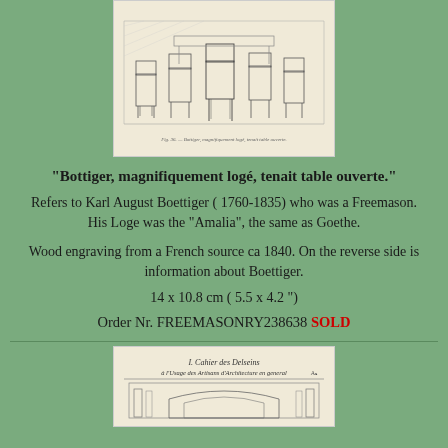[Figure (illustration): Wood engraving showing chairs/furniture, from a French source ca 1840, with a caption line at the bottom of the image area.]
"Bottiger, magnifiquement logé, tenait table ouverte."
Refers to Karl August Boettiger ( 1760-1835) who was a Freemason. His Loge was the "Amalia", the same as Goethe.
Wood engraving from a French source ca 1840. On the reverse side is information about Boettiger.
14 x 10.8 cm ( 5.5 x 4.2 ")
Order Nr. FREEMASONRY238638 SOLD
[Figure (illustration): Bottom portion of a wood engraving showing title 'I. Cahier des Delseins à l'Usage des Artisans d'Architecture en general' with architectural drawings below.]